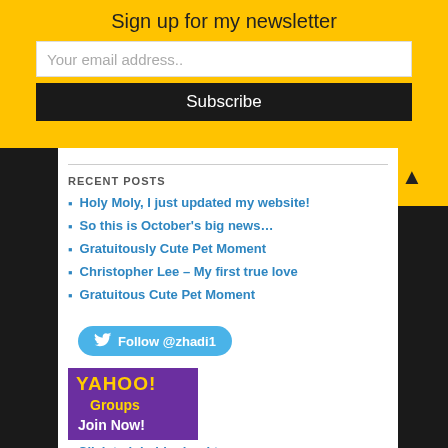Sign up for my newsletter
Your email address..
Subscribe
RECENT POSTS
Holy Moly, I just updated my website!
So this is October’s big news…
Gratuitously Cute Pet Moment
Christopher Lee – My first true love
Gratuitous Cute Pet Moment
Follow @zhadi1
[Figure (logo): Yahoo! Groups Join Now! logo banner]
Click to join blogbooktours